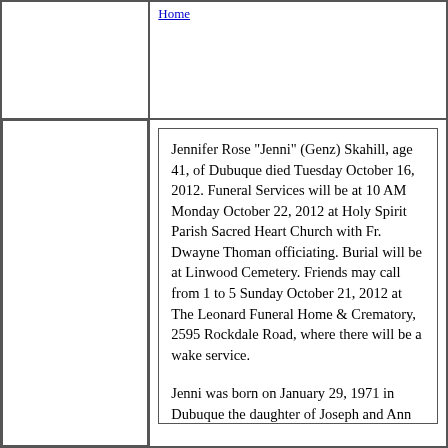Home
Jennifer Rose "Jenni" (Genz) Skahill, age 41, of Dubuque died Tuesday October 16, 2012. Funeral Services will be at 10 AM Monday October 22, 2012 at Holy Spirit Parish Sacred Heart Church with Fr. Dwayne Thoman officiating. Burial will be at Linwood Cemetery. Friends may call from 1 to 5 Sunday October 21, 2012 at The Leonard Funeral Home & Crematory, 2595 Rockdale Road, where there will be a wake service.
Jenni was born on January 29, 1971 in Dubuque the daughter of Joseph and Ann (Kegler) Genz. Jennifer formerly worked at SELCO and WSLive. She enjoyed spending time with her many family and friends, live music, and going for motorcycle rides. Jennifer was always generous with her love and her sense of humor could make anyone smile. Her children and grandchildren